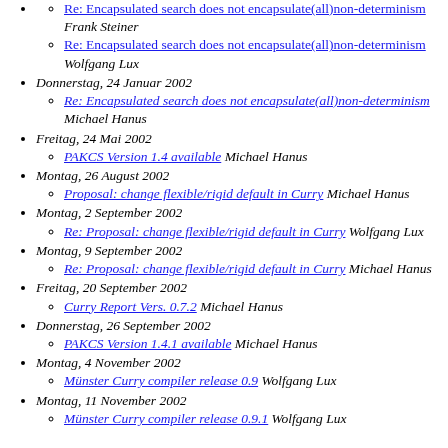Re: Encapsulated search does not encapsulate(all)non-determinism Frank Steiner
Re: Encapsulated search does not encapsulate(all)non-determinism Wolfgang Lux
Donnerstag, 24 Januar 2002
Re: Encapsulated search does not encapsulate(all)non-determinism Michael Hanus
Freitag, 24 Mai 2002
PAKCS Version 1.4 available Michael Hanus
Montag, 26 August 2002
Proposal: change flexible/rigid default in Curry Michael Hanus
Montag, 2 September 2002
Re: Proposal: change flexible/rigid default in Curry Wolfgang Lux
Montag, 9 September 2002
Re: Proposal: change flexible/rigid default in Curry Michael Hanus
Freitag, 20 September 2002
Curry Report Vers. 0.7.2 Michael Hanus
Donnerstag, 26 September 2002
PAKCS Version 1.4.1 available Michael Hanus
Montag, 4 November 2002
Münster Curry compiler release 0.9 Wolfgang Lux
Montag, 11 November 2002
Münster Curry compiler release 0.9.1 Wolfgang Lux